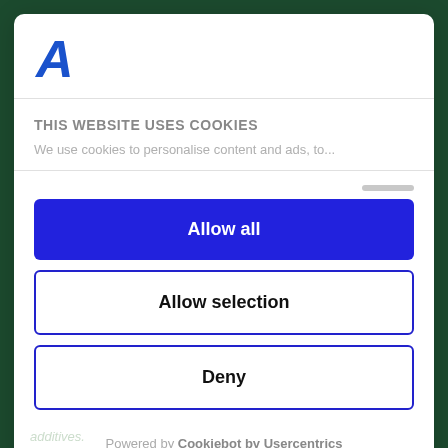[Figure (logo): Blue italic bold letter A logo]
THIS WEBSITE USES COOKIES
We use cookies to personalise content and ads, to...
Allow all
Allow selection
Deny
Powered by Cookiebot by Usercentrics
additives.